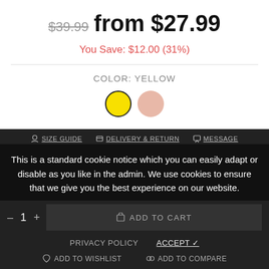$39.99 from $27.99
You Save: $12.00 (31%)
COLOR: YELLOW
[Figure (other): Two color swatches: yellow (selected, with black border) and pink]
SIZE: S
S  M  L  XL  XXL
SIZE GUIDE   DELIVERY & RETURN   MESSAGE
This is a standard cookie notice which you can easily adapt or disable as you like in the admin. We use cookies to ensure that we give you the best experience on our website.
– 1 +   ADD TO CART
PRIVACY POLICY   ACCEPT ✓
ADD TO WISHLIST   ADD TO COMPARE